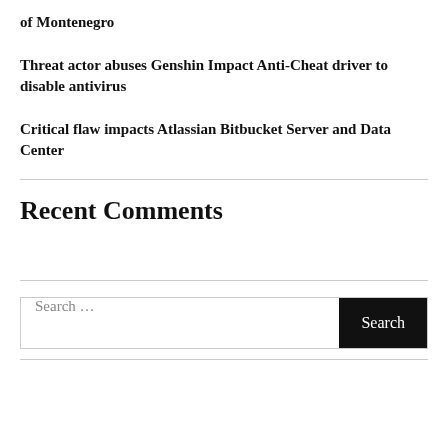of Montenegro
Threat actor abuses Genshin Impact Anti-Cheat driver to disable antivirus
Critical flaw impacts Atlassian Bitbucket Server and Data Center
Recent Comments
Search ...